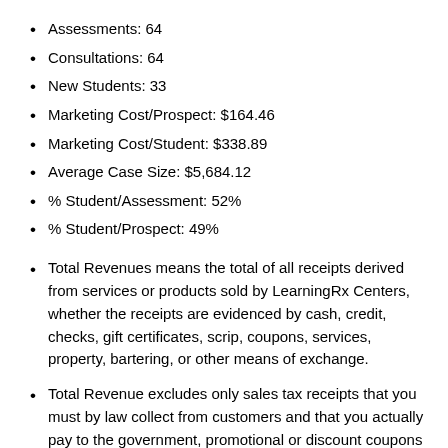Assessments:  64
Consultations:  64
New Students:  33
Marketing Cost/Prospect:  $164.46
Marketing Cost/Student:  $338.89
Average Case Size:  $5,684.12
% Student/Assessment:  52%
% Student/Prospect:  49%
Total Revenues means the total of all receipts derived from services or products sold by LearningRx Centers, whether the receipts are evidenced by cash, credit, checks, gift certificates, scrip, coupons, services, property, bartering, or other means of exchange.
Total Revenue excludes only sales tax receipts that you must by law collect from customers and that you actually pay to the government, promotional or discount coupons to the extent that the franchisee realizes no revenue, and employee receipt of services or products, if free, or